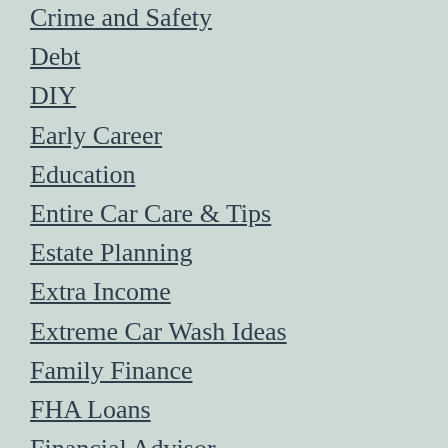Crime and Safety
Debt
DIY
Early Career
Education
Entire Car Care & Tips
Estate Planning
Extra Income
Extreme Car Wash Ideas
Family Finance
FHA Loans
Financial Advisor
Financial Clarity
Financial Freedom